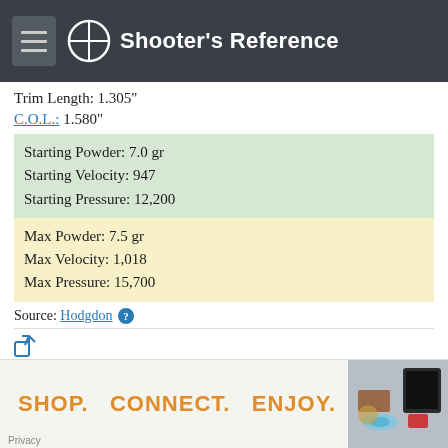Shooter's Reference
Trim Length: 1.305"
C.O.L.: 1.580"
| Starting Powder: 7.0 gr |
| Starting Velocity: 947 |
| Starting Pressure: 12,200 |
| Max Powder: 7.5 gr |
| Max Velocity: 1,018 |
| Max Pressure: 15,700 |
Source: Hodgdon
GR.: 100 gr
Bullet Type: JFP (REM) Diameter: 0.312"
[Figure (other): Advertisement banner: SHOP. CONNECT. ENJOY. with product images]